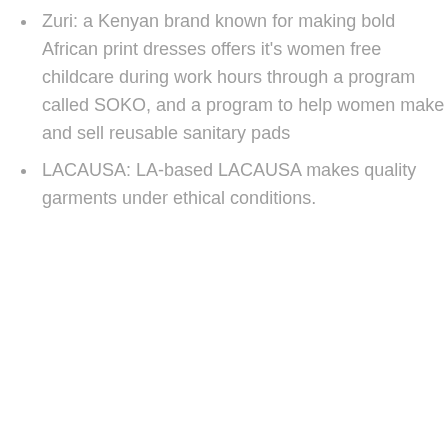Zuri: a Kenyan brand known for making bold African print dresses offers it's women free childcare during work hours through a program called SOKO, and a program to help women make and sell reusable sanitary pads
LACAUSA: LA-based LACAUSA makes quality garments under ethical conditions.